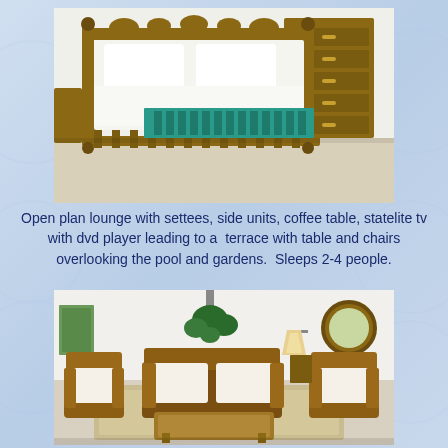[Figure (photo): Photo of a bedroom with a wooden double bed with white linen and a teal/green runner, white walls, and a wooden chest of drawers in the background.]
Open plan lounge with settees, side units, coffee table, statelite tv with dvd player leading to a  terrace with table and chairs overlooking the pool and gardens.  Sleeps 2-4 people.
[Figure (photo): Photo of an open plan lounge area with wicker/rattan furniture including armchairs and a sofa with white cushions, a coffee table, a large plant, a floor lamp, and a round mirror on the wall.]